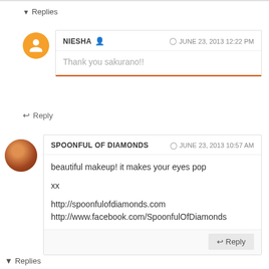▾ Replies
NIESHA 🔒 · JUNE 23, 2013 12:22 PM
Thank you sakurano!!
↩ Reply
SPOONFUL OF DIAMONDS · JUNE 23, 2013 10:57 AM
beautiful makeup! it makes your eyes pop

xx

http://spoonfulofdiamonds.com
http://www.facebook.com/SpoonfulOfDiamonds
↩ Reply
▾ Replies